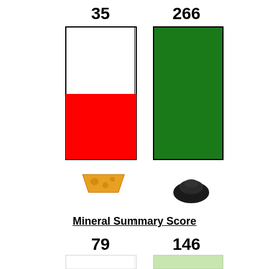[Figure (bar-chart): Bar comparison]
Mineral Summary Score
[Figure (bar-chart): Mineral Summary Score]